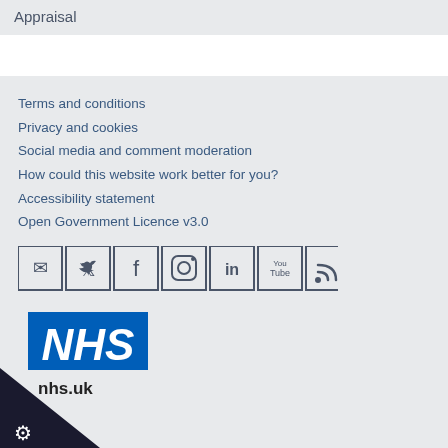Appraisal
Terms and conditions
Privacy and cookies
Social media and comment moderation
How could this website work better for you?
Accessibility statement
Open Government Licence v3.0
[Figure (other): Social media icon links: email, Twitter, Facebook, Instagram, LinkedIn, YouTube, RSS feed]
[Figure (logo): NHS logo in blue with italic bold text, nhs.uk domain, and OGL crown copyright symbol]